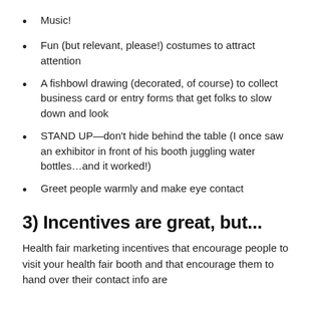Music!
Fun (but relevant, please!) costumes to attract attention
A fishbowl drawing (decorated, of course) to collect business card or entry forms that get folks to slow down and look
STAND UP—don't hide behind the table (I once saw an exhibitor in front of his booth juggling water bottles…and it worked!)
Greet people warmly and make eye contact
3) Incentives are great, but...
Health fair marketing incentives that encourage people to visit your health fair booth and that encourage them to hand over their contact info are